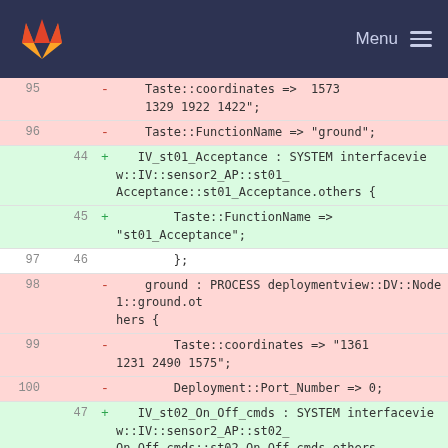GitLab Menu
| old | new | sign | code |
| --- | --- | --- | --- |
| 95 |  | - |     Taste::coordinates =>  1573 1329 1922 1422"; |
| 96 |  | - |     Taste::FunctionName => "ground"; |
|  | 44 | + |     IV_st01_Acceptance : SYSTEM interfaceview::IV::sensor2_AP::st01_Acceptance::st01_Acceptance.others { |
|  | 45 | + |         Taste::FunctionName => "st01_Acceptance"; |
| 97 | 46 |  |         }; |
| 98 |  | - |     ground : PROCESS deploymentview::DV::Node1::ground.others { |
| 99 |  | - |         Taste::coordinates => "1361 1231 2490 1575"; |
| 100 |  | - |         Deployment::Port_Number => 0; |
|  | 47 | + |     IV_st02_On_Off_cmds : SYSTEM interfaceview::IV::sensor2_AP::st02_On_Off_cmds::st02_On_Off_cmds.others { |
|  | 48 | + |         Taste::FunctionName => |